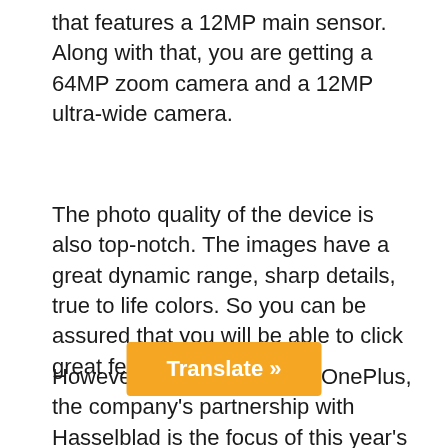that features a 12MP main sensor. Along with that, you are getting a 64MP zoom camera and a 12MP ultra-wide camera.
The photo quality of the device is also top-notch. The images have a great dynamic range, sharp details, true to life colors. So you can be assured that you will be able to click great features.
However, when it comes to OnePlus, the company’s partnership with Hasselblad is the focus of this year’s flagship models.
The OnePlus 9 is offering natural color calibration with Hasselblad. So you can enjoy realistic and colorful photogra… he specs are considered, it fea… ain sensor, a
[Figure (other): Orange 'Translate »' button overlay]